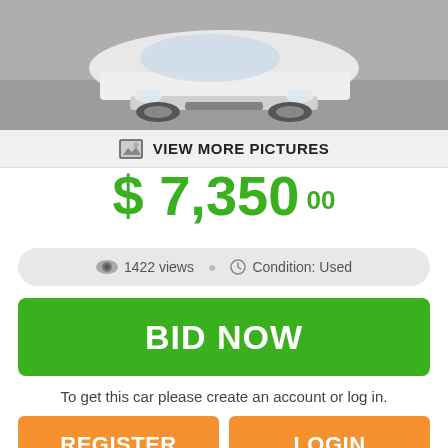[Figure (photo): Photo of a white car viewed from the front, parked on a gray surface. Image is partially cropped showing the front portion of the vehicle.]
VIEW MORE PICTURES
$ 7,350 00
1422 views   Condition: Used
BID NOW
To get this car please create an account or log in.
REGISTER
LOGIN
| State: | Pennsylvania |
| City: | Manheim |
| Address: | N/A |